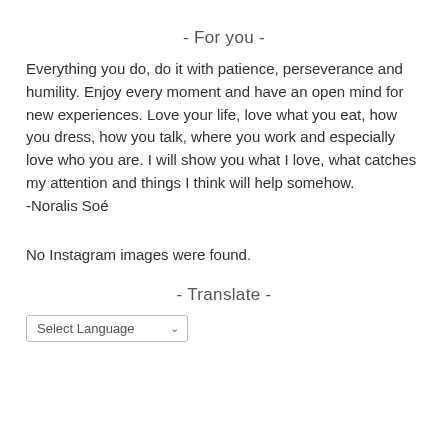- For you -
Everything you do, do it with patience, perseverance and humility. Enjoy every moment and have an open mind for new experiences. Love your life, love what you eat, how you dress, how you talk, where you work and especially love who you are. I will show you what I love, what catches my attention and things I think will help somehow.
-Noralis Soé
No Instagram images were found.
- Translate -
Select Language